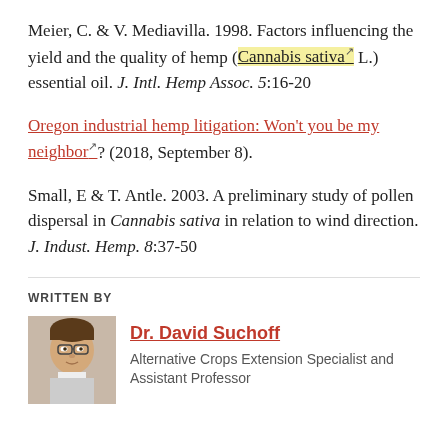Meier, C. & V. Mediavilla. 1998. Factors influencing the yield and the quality of hemp (Cannabis sativa L.) essential oil. J. Intl. Hemp Assoc. 5:16-20
Oregon industrial hemp litigation: Won't you be my neighbor? (2018, September 8).
Small, E & T. Antle. 2003. A preliminary study of pollen dispersal in Cannabis sativa in relation to wind direction. J. Indust. Hemp. 8:37-50
WRITTEN BY
Dr. David Suchoff — Alternative Crops Extension Specialist and Assistant Professor